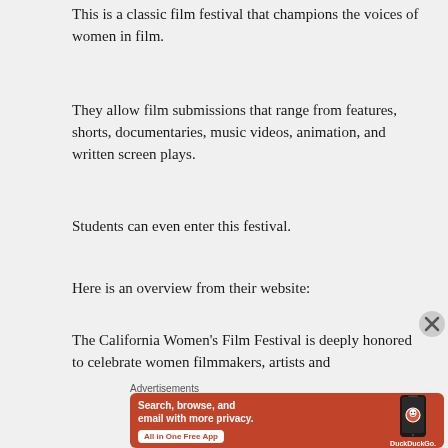This is a classic film festival that champions the voices of women in film.
They allow film submissions that range from features, shorts, documentaries, music videos, animation, and written screen plays.
Students can even enter this festival.
Here is an overview from their website:
The California Women's Film Festival is deeply honored to celebrate women filmmakers, artists and
Advertisements
[Figure (screenshot): DuckDuckGo advertisement: orange background with phone image, text 'Search, browse, and email with more privacy. All in One Free App' with DuckDuckGo logo]